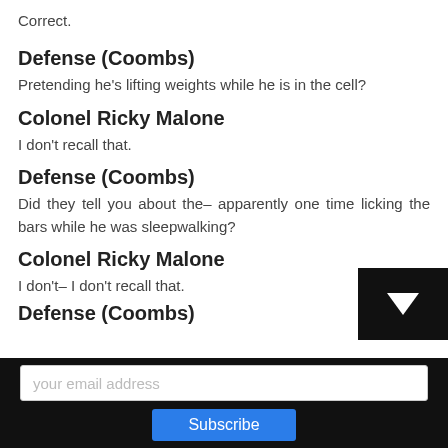Correct.
Defense (Coombs)
Pretending he's lifting weights while he is in the cell?
Colonel Ricky Malone
I don't recall that.
Defense (Coombs)
Did they tell you about the– apparently one time licking the bars while he was sleepwalking?
Colonel Ricky Malone
I don't– I don't recall that.
Defense (Coombs)